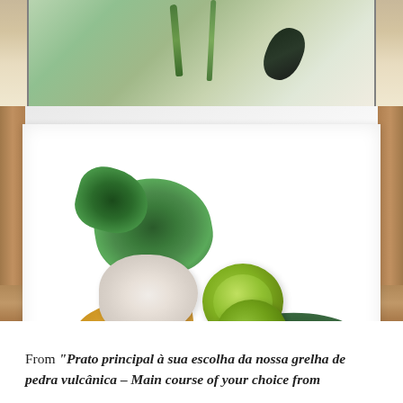[Figure (photo): Two food photos: top image shows asparagus or green vegetables on a light background; bottom image shows a gourmet seafood dish on a white square plate placed on a wooden surface, featuring crab salad on toast, two lime slices, greens/spinach, and shrimp/lobster pieces.]
From "Prato principal à sua escolha da nossa grelha de pedra vulcânica – Main course of your choice from